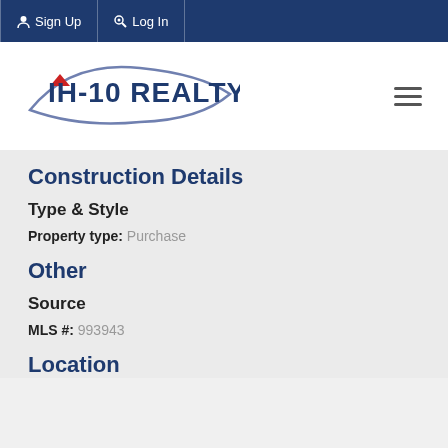Sign Up  Log In
[Figure (logo): IH-10 Realty logo with swoosh graphic and small house/roof icon in red above the H]
Construction Details
Type & Style
Property type:  Purchase
Other
Source
MLS #:  993943
Location